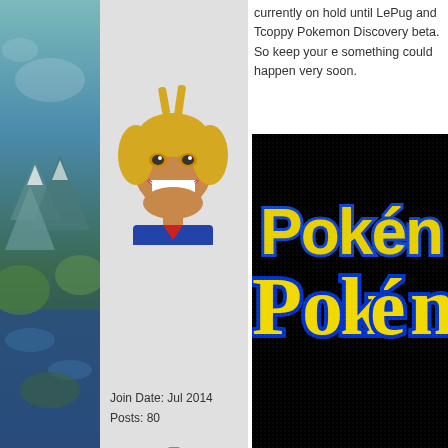[Figure (illustration): Left decorative sidebar showing a fantasy map/landscape with mountains, water, and green terrain in teal/blue/green tones]
[Figure (illustration): User avatar: All Might from My Hero Academia cartoon avatar with yellow hair and large grin]
Join Date: Jul 2014
Posts: 80
currently on hold until LePug and Tcoppy Pokemon Discovery beta. So keep your e something could happen very soon.
[Figure (screenshot): Pokemon Orange Version game title screen - pixelated Pokemon logo in yellow with blue outline, 'ORANGE VERSION' text in white on red/magenta banner, black background]
Check out my channel
[Figure (illustration): Grey/blue circular offline indicator icon]
9th September 2014, 08:38 PM
#15
Ttar0914
Back again, once again.
[Figure (illustration): Red dinosaur/Groudon-like Pokemon creature avatar for user Ttar0914]
[Figure (illustration): Quote icon (clipboard/notepad icon)]
Quote:
Originally Posted by Mr.Mako